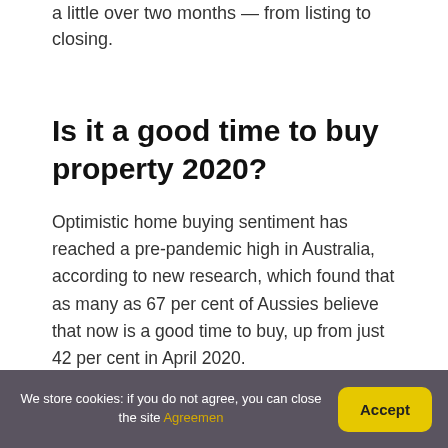a little over two months — from listing to closing.
Is it a good time to buy property 2020?
Optimistic home buying sentiment has reached a pre-pandemic high in Australia, according to new research, which found that as many as 67 per cent of Aussies believe that now is a good time to buy, up from just 42 per cent in April 2020.
What is the best month
We store cookies: if you do not agree, you can close the site Agreemen